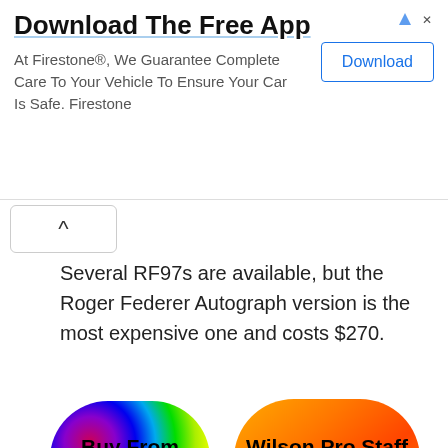[Figure (screenshot): Advertisement banner for Firestone app download with title 'Download The Free App', body text, and a Download button]
[Figure (screenshot): Collapse/chevron-up button UI element]
Several RF97s are available, but the Roger Federer Autograph version is the most expensive one and costs $270.
[Figure (illustration): Two pill-shaped buttons: 'Buy From eBay' with rainbow gradient background, and 'Wilson Pro Staff RF97 New' with orange gradient background]
7. Wilson Blade SW104